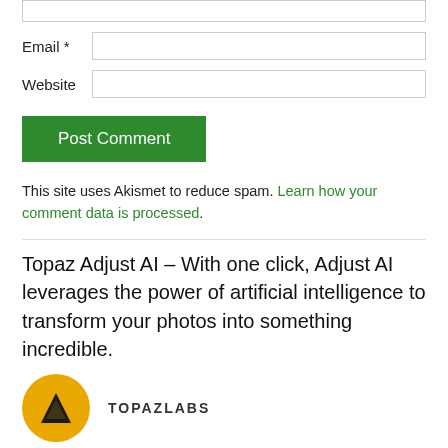Email *
Website
Post Comment
This site uses Akismet to reduce spam. Learn how your comment data is processed.
Topaz Adjust AI – With one click, Adjust AI leverages the power of artificial intelligence to transform your photos into something incredible.
[Figure (logo): Topaz Labs logo: yellow circle with dark triangle/arrow shape, next to TOPAZLABS text]